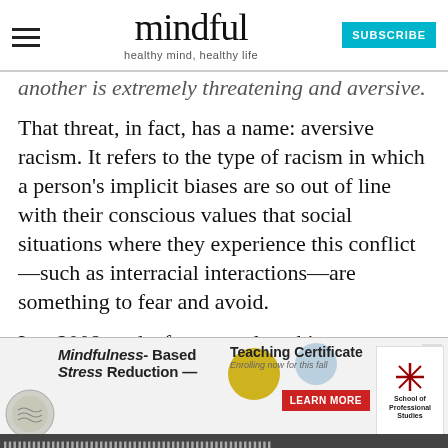mindful — healthy mind, healthy life — SUBSCRIBE
another is extremely threatening and aversive. That threat, in fact, has a name: aversive racism. It refers to the type of racism in which a person's implicit biases are so out of line with their conscious values that social situations where they experience this conflict—such as interracial interactions—are something to fear and avoid.
In a 2008 study, for example, white participants who were about to discuss racial profiling with a fellow study participant who was black literally sat further away from them, and this distance was not predicted by their level of racial bias. Instead, it
[Figure (screenshot): Advertisement banner for Mindfulness-Based Stress Reduction Teaching Certificate program, with a Learn More button and School of Professional Studies logo]